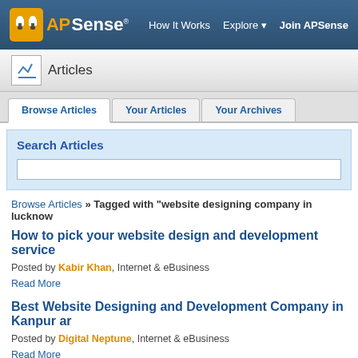APSense — How It Works  Explore  Join APSense
Articles
Browse Articles  |  Your Articles  |  Your Archives
Search Articles
Browse Articles » Tagged with "website designing company in lucknow"
How to pick your website design and development service
Posted by Kabir Khan, Internet & eBusiness
Read More
Best Website Designing and Development Company in Kanpur ar
Posted by Digital Neptune, Internet & eBusiness
Read More
The Future of Web Development